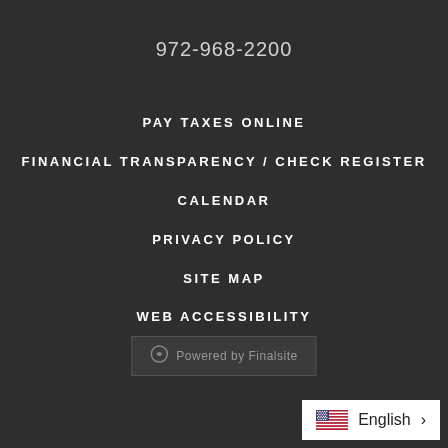972-968-2200
PAY TAXES ONLINE
FINANCIAL TRANSPARENCY / CHECK REGISTER
CALENDAR
PRIVACY POLICY
SITE MAP
WEB ACCESSIBILITY
Powered by Finalsite
English